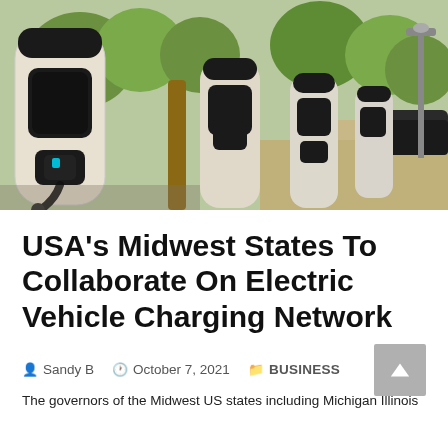[Figure (photo): Outdoor EV electric vehicle charging stations on a street, white pillar-style chargers with black cables, trees and parked cars in background]
USA's Midwest States To Collaborate On Electric Vehicle Charging Network
Sandy B   October 7, 2021   BUSINESS
The governors of the Midwest US states including Michigan Illinois